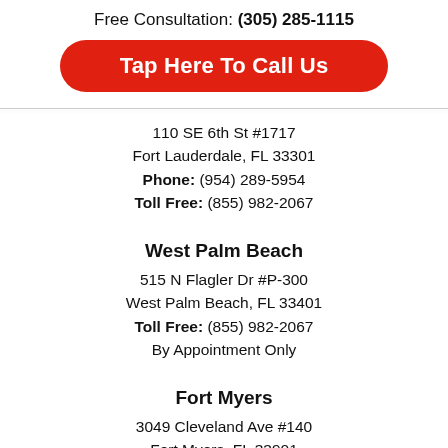Free Consultation: (305) 285-1115
Tap Here To Call Us
110 SE 6th St #1717
Fort Lauderdale, FL 33301
Phone: (954) 289-5954
Toll Free: (855) 982-2067
West Palm Beach
515 N Flagler Dr #P-300
West Palm Beach, FL 33401
Toll Free: (855) 982-2067
By Appointment Only
Fort Myers
3049 Cleveland Ave #140
Fort Myers, FL 33901
Phone: (239) 777-9954